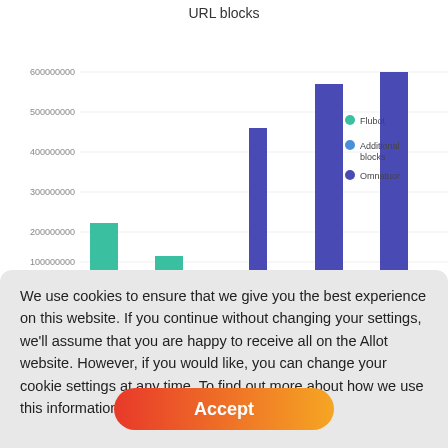[Figure (grouped-bar-chart): URL blocks]
We use cookies to ensure that we give you the best experience on this website. If you continue without changing your settings, we'll assume that you are happy to receive all on the Allot website. However, if you would like, you can change your cookie settings at any time. To find out more about how we use this information, see our Privacy Policy.